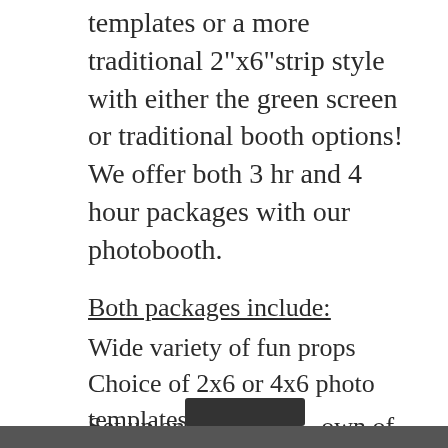templates or a more traditional 2"x6"strip style with either the green screen or traditional booth options! We offer both 3 hr and 4 hour packages with our photobooth.
Both packages include:
Wide variety of fun props
Choice of 2x6 or 4x6 photo templates
Customizable designs
Set up and [own of